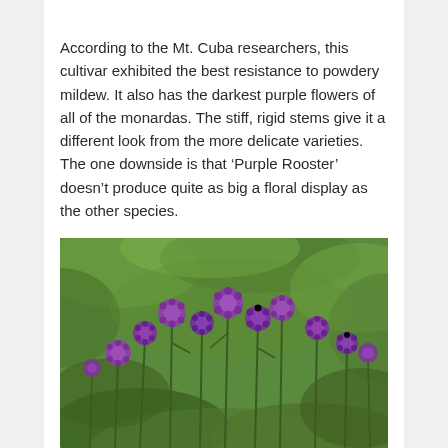According to the Mt. Cuba researchers, this cultivar exhibited the best resistance to powdery mildew. It also has the darkest purple flowers of all of the monardas. The stiff, rigid stems give it a different look from the more delicate varieties. The one downside is that ‘Purple Rooster’ doesn’t produce quite as big a floral display as the other species.
[Figure (photo): A field of monarda (bee balm) plants with dark purple flowers on stiff stems against a bright green leafy background. Multiple flower heads are visible at various heights.]